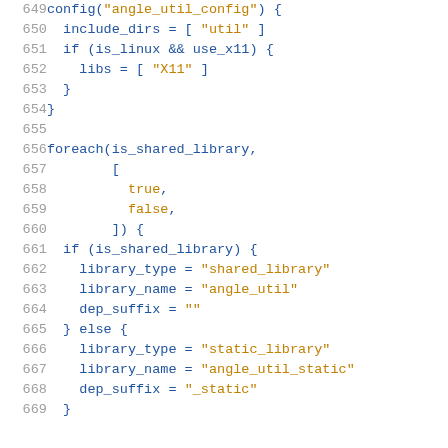Code listing lines 649-669: GN build configuration script snippet showing config angle_util_config and foreach is_shared_library blocks